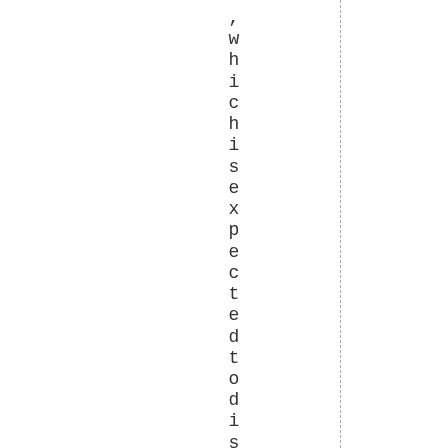, which is expected to distrib